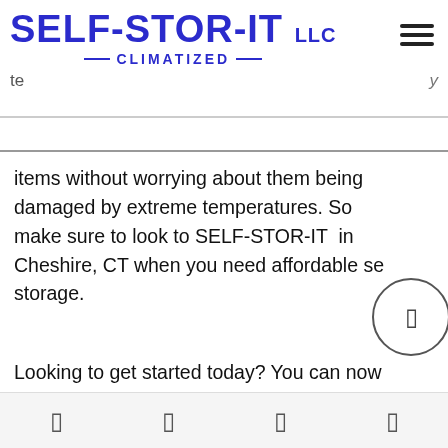SELF-STOR-IT LLC CLIMATIZED
items without worrying about them being damaged by extreme temperatures. So make sure to look to SELF-STOR-IT in Cheshire, CT when you need affordable self storage.
Looking to get started today? You can now rent or reserve self storage through our contactless rental process online.
Indoor, Temperature-Controlled Self Storage